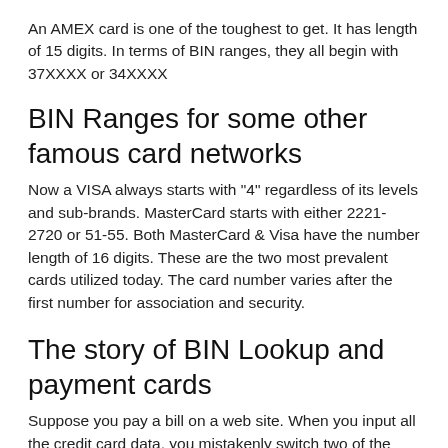An AMEX card is one of the toughest to get. It has length of 15 digits. In terms of BIN ranges, they all begin with 37XXXX or 34XXXX
BIN Ranges for some other famous card networks
Now a VISA always starts with "4" regardless of its levels and sub-brands. MasterCard starts with either 2221-2720 or 51-55. Both MasterCard & Visa have the number length of 16 digits. These are the two most prevalent cards utilized today. The card number varies after the first number for association and security.
The story of BIN Lookup and payment cards
Suppose you pay a bill on a web site. When you input all the credit card data, you mistakenly switch two of the numbers. Clicking submit, the web site errors back as